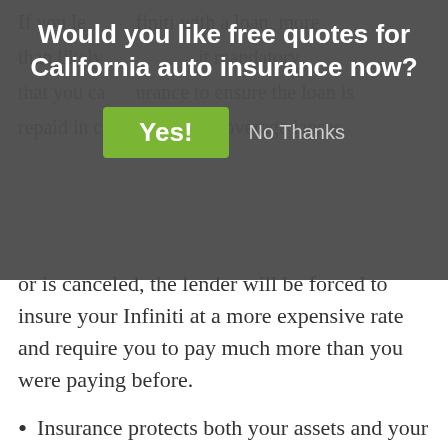[Figure (screenshot): A modal dialog overlay on top of insurance article content. The overlay has a dark grey background with white title text reading 'Would you like free quotes for California auto insurance now?' and two buttons: a green 'Yes!' button and a grey 'No Thanks' text link.]
or is canceled, the lender will be forced to insure your Infiniti at a more expensive rate and require you to pay much more than you were paying before.
Insurance protects both your assets and your Infiniti Q45. Insurance will pay for medical transport and hospital expenses for you, any passengers, and anyone injured in an accident. One of the most valuable coverages, liability insurance, will also pay attorney fees if anyone sues you for causing an accident. If your car is